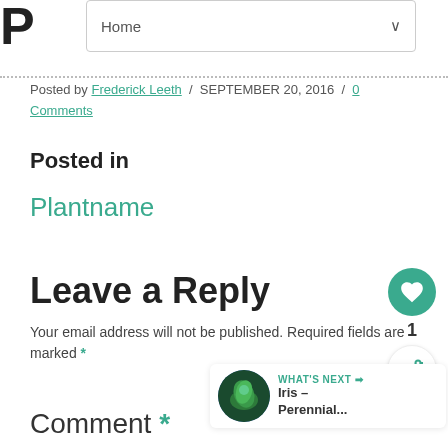P
Home
Posted by Frederick Leeth / SEPTEMBER 20, 2016 / 0 Comments
Posted in
Plantname
Leave a Reply
Your email address will not be published. Required fields are marked *
Comment *